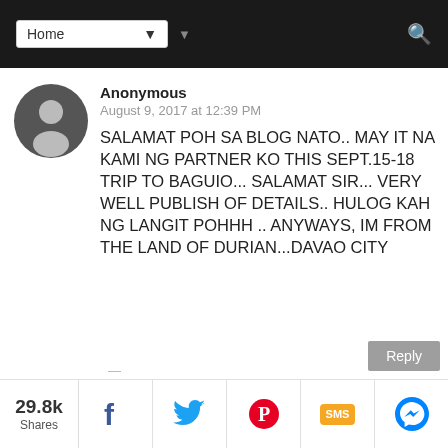Home [dropdown] [search]
Anonymous
August 9, 2017 at 12:39 PM
SALAMAT POH SA BLOG NATO.. MAY IT NA KAMI NG PARTNER KO THIS SEPT.15-18 TRIP TO BAGUIO... SALAMAT SIR... VERY WELL PUBLISH OF DETAILS.. HULOG KAH NG LANGIT POHHH .. ANYWAYS, IM FROM THE LAND OF DURIAN...DAVAO CITY
29.8k Shares